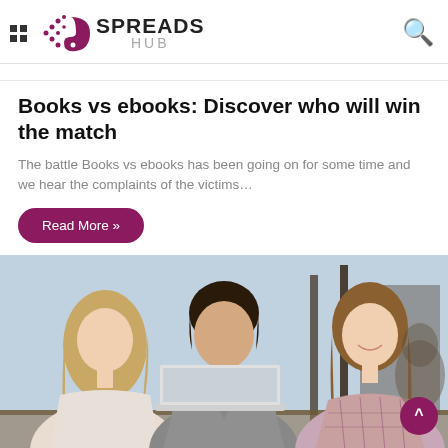SPREADS HUB
Books vs ebooks: Discover who will win the match
The battle Books vs ebooks has been going on for some time and we hear the complaints of the victims…
Read More »
[Figure (photo): Three students (two women and one man) sitting at a table with a laptop, studying together in a library or cafe setting]